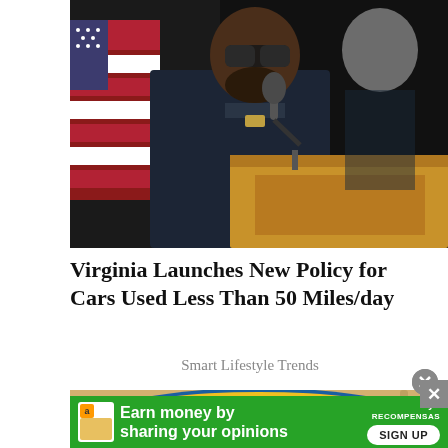[Figure (photo): A Black police officer in uniform wearing sunglasses speaks at a wooden podium with a microphone. An American flag is visible to the left. A blurred white man in a dark suit stands in the background.]
Virginia Launches New Policy for Cars Used Less Than 50 Miles/day
Smart Lifestyle Trends
[Figure (photo): Partial view of a decorative blue bowl containing yellow/orange food, with red and green elements visible, on a light surface.]
[Figure (infographic): Green advertisement bar reading 'Earn money by sharing your opinions' with a MyPoints Recompensas logo and a SIGN UP button. An Amazon icon and a decorative image are on the left side.]